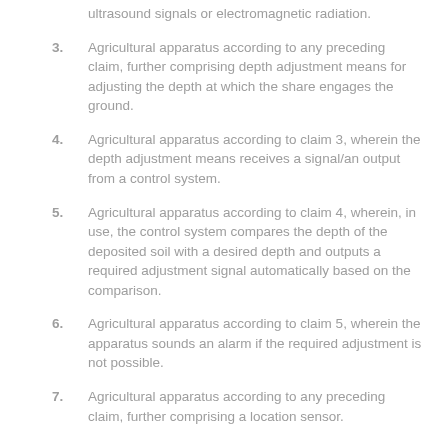ultrasound signals or electromagnetic radiation.
3. Agricultural apparatus according to any preceding claim, further comprising depth adjustment means for adjusting the depth at which the share engages the ground.
4. Agricultural apparatus according to claim 3, wherein the depth adjustment means receives a signal/an output from a control system.
5. Agricultural apparatus according to claim 4, wherein, in use, the control system compares the depth of the deposited soil with a desired depth and outputs a required adjustment signal automatically based on the comparison.
6. Agricultural apparatus according to claim 5, wherein the apparatus sounds an alarm if the required adjustment is not possible.
7. Agricultural apparatus according to any preceding claim, further comprising a location sensor.